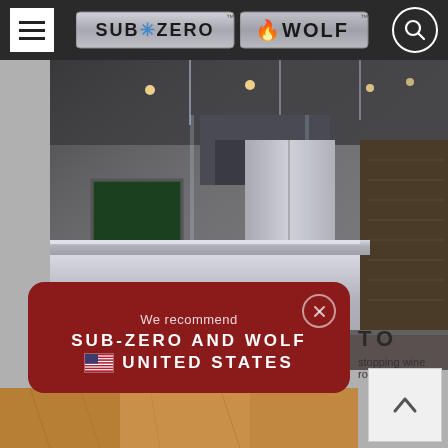[Figure (screenshot): Website screenshot of Sub-Zero and Wolf appliances brand page showing navigation bar with hamburger menu, Sub-Zero logo, Wolf logo, search icon on dark background]
[Figure (photo): Hero image of a modern kitchen showroom with stainless steel island, pendant lights, glass panels, red cabinets, and wine storage]
[Figure (screenshot): Modal overlay on dark red background with close button (X), text 'We recommend', 'SUB-ZERO AND WOLF', US flag emoji, 'UNITED STATES']
TO
stopping wine room
[Figure (screenshot): Scroll-to-top arrow button (chevron up) in light gray square]